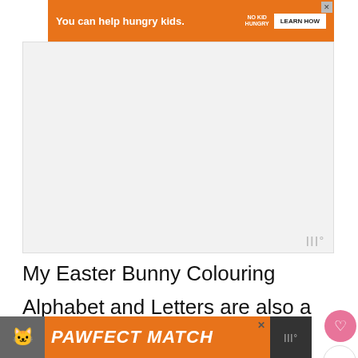[Figure (screenshot): Orange advertisement banner for No Kid Hungry charity with 'You can help hungry kids.' text and 'LEARN HOW' button]
[Figure (screenshot): Large white/grey advertisement placeholder area with Mediavine watermark in bottom right]
My Easter Bunny Colouring Alphabet and Letters are also a quick and easy resources! Also even better, get the kids to print it out. skills are so important and better to start them young.
[Figure (screenshot): Bottom orange advertisement banner with cat image and 'PAWFECT MATCH' text in bold italic white lettering]